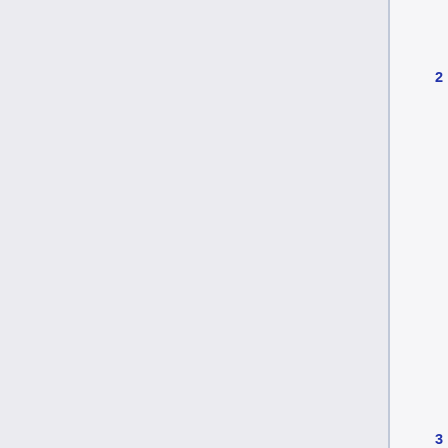Artificial Life 1993
1.8  Evolutionary Art and Computers 1992
2  EvoMUSART Konferenzen und Workshops
2.1  EvoMUSART 2016
2.2  EvoMUSART 2015
2.3  EvoMUSART 2014
2.4  EvoMUSART 2013
2.5  EvoMUSART 2012
2.6  EvoMUSART 2011
2.7  EvoMUSART 2010
2.8  EvoMUSART 2009
2.9  EvoMUSART 2008
2.10  EvoMUSART 2007
2.11  EvoMUSART 2006
2.12  EvoMUSART 2005
2.13  EvoMUSART 2004
2.14  EvoMUSART 2003
3  Artikel